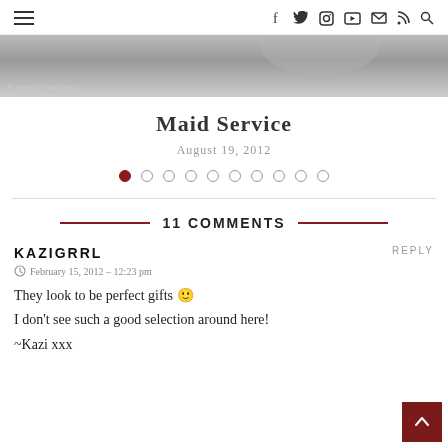Navigation bar with hamburger menu and social icons: f (Facebook), Twitter, Instagram, YouTube, Mail, RSS, Search
[Figure (photo): Grayscale hero image strip with watermark '© Holly's Daily Kiss']
Maid Service
August 19, 2012
[Figure (other): Slideshow dot navigation: 10 dots, first dot active (dark red), rest empty circles]
11 COMMENTS
KAZIGRRL
February 15, 2012 – 12:23 pm
They look to be perfect gifts 🙂
I don't see such a good selection around here!
~Kazi xxx